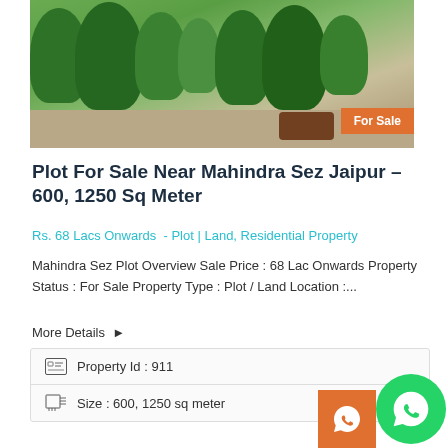[Figure (photo): Aerial/street view photo of a plotted development near Mahindra SEZ Jaipur showing green trees, a road, and a tractor. Orange 'For Sale' badge in the bottom-right corner.]
Plot For Sale Near Mahindra Sez Jaipur – 600, 1250 Sq Meter
Rs. 68 Lacs Onwards  - Plot | Land, Residential Property
Mahindra Sez Plot Overview Sale Price : 68 Lac Onwards Property Status : For Sale Property Type : Plot / Land Location :...
More Details ▶
| Property Id : 911 |
| Size : 600, 1250 sq meter |